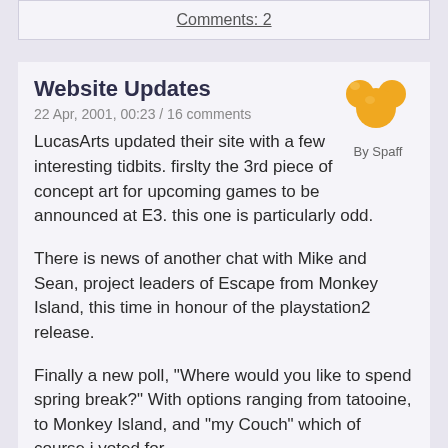Comments: 2
Website Updates
22 Apr, 2001, 00:23 / 16 comments
[Figure (illustration): Yellow cartoon Mickey Mouse-style icon with By Spaff label]
LucasArts updated their site with a few interesting tidbits. firslty the 3rd piece of concept art for upcoming games to be announced at E3. this one is particularly odd.
There is news of another chat with Mike and Sean, project leaders of Escape from Monkey Island, this time in honour of the playstation2 release.
Finally a new poll, "Where would you like to spend spring break?" With options ranging from tatooine, to Monkey Island, and "my Couch" which of course i voted for.